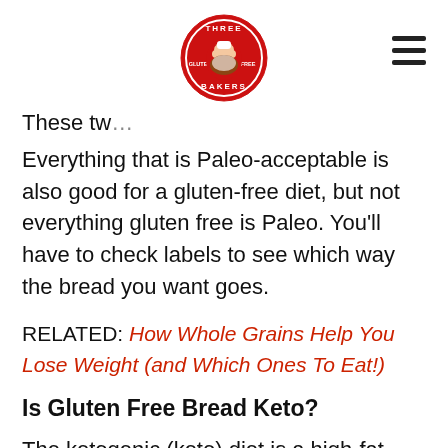[Figure (logo): Three Bakers Gluten Free logo — circular red badge with baker illustration]
These tw...
Everything that is Paleo-acceptable is also good for a gluten-free diet, but not everything gluten free is Paleo. You'll have to check labels to see which way the bread you want goes.
RELATED:  How Whole Grains Help You Lose Weight (and Which Ones To Eat!)
Is Gluten Free Bread Keto?
The ketogenic (keto) diet is a high-fat, adequate-protein, low-carbohydrate diet that in medicine is used primarily to treat difficult-to-control epilepsy in children, though many people have used the diet for weight loss. Because gluten free bread contains